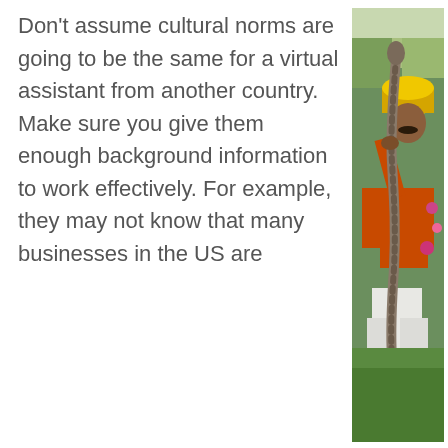Don't assume cultural norms are going to be the same for a virtual assistant from another country. Make sure you give them enough background information to work effectively. For example, they may not know that many businesses in the US are
[Figure (photo): A man wearing an orange shirt and yellow turban sits cross-legged on green grass, holding a large snake vertically above him. Garden with flowers and greenery is visible in the background.]